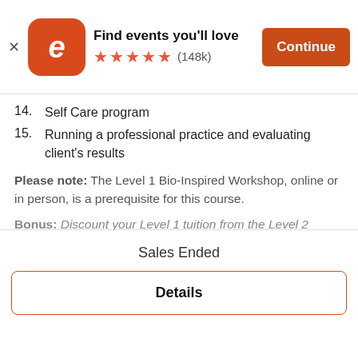[Figure (screenshot): Eventbrite app banner with logo, 'Find events you'll love', 5 stars, (148k) reviews, and Continue button]
14. Self Care program
15. Running a professional practice and evaluating client's results
Please note: The Level 1 Bio-Inspired Workshop, online or in person, is a prerequisite for this course.
Bonus: Discount your Level 1 tuition from the Level 2 tuition when you pay in full. alternatively pay monthly and still receive a discount of $295 when you pay your L2 deposit within one month of taking L1 Training.
We have capped the size of the course to 12 to ensure
Sales Ended
Details